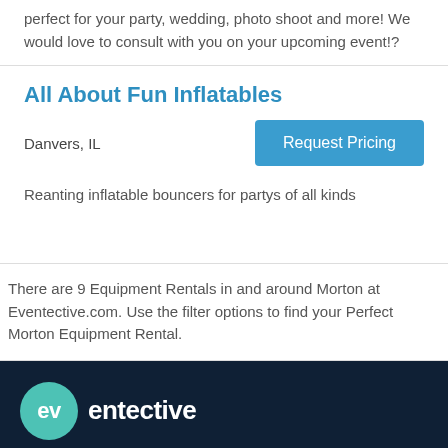perfect for your party, wedding, photo shoot and more! We would love to consult with you on your upcoming event!?
All About Fun Inflatables
Danvers, IL
Request Pricing
Reanting inflatable bouncers for partys of all kinds
There are 9 Equipment Rentals in and around Morton at Eventective.com. Use the filter options to find your Perfect Morton Equipment Rental.
[Figure (logo): Eventective logo with teal circle containing 'ev' and white text 'entective' on dark navy background]